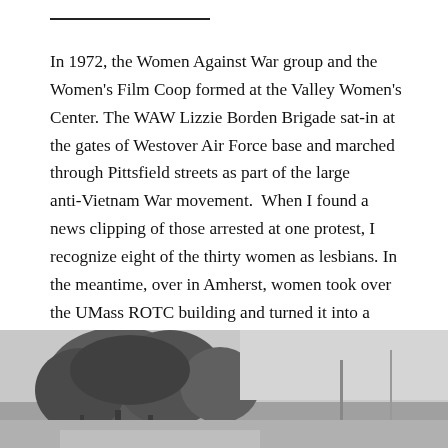In 1972, the Women Against War group and the Women’s Film Coop formed at the Valley Women’s Center. The WAW Lizzie Borden Brigade sat‑in at the gates of Westover Air Force base and marched through Pittsfield streets as part of the large anti‑Vietnam War movement. When I found a news clipping of those arrested at one protest, I recognize eight of the thirty women as lesbians. In the meantime, over in Amherst, women took over the UMass ROTC building and turned it into a childcare center.
[Figure (photo): Black and white photograph showing trees and an outdoor scene, partially visible at the bottom of the page.]